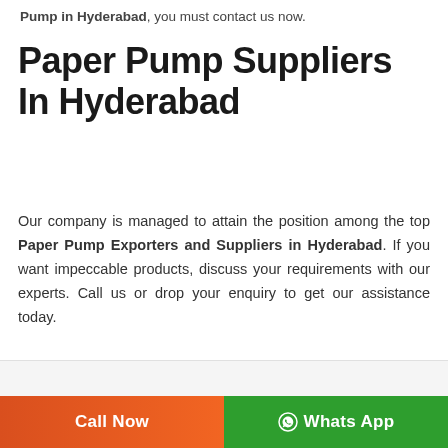Pump in Hyderabad, you must contact us now.
Paper Pump Suppliers In Hyderabad
Our company is managed to attain the position among the top Paper Pump Exporters and Suppliers in Hyderabad. If you want impeccable products, discuss your requirements with our experts. Call us or drop your enquiry to get our assistance today.
[Figure (illustration): Orange rounded-square pencil/edit icon inside a light gray circle, with an orange circle containing an upward chevron arrow in bottom-right area]
Call Now
Whats App